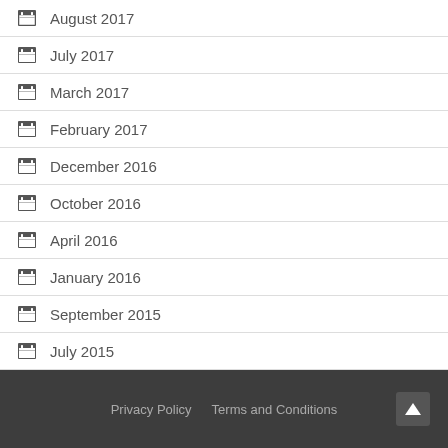August 2017
July 2017
March 2017
February 2017
December 2016
October 2016
April 2016
January 2016
September 2015
July 2015
August 2007
Privacy Policy   Terms and Conditions